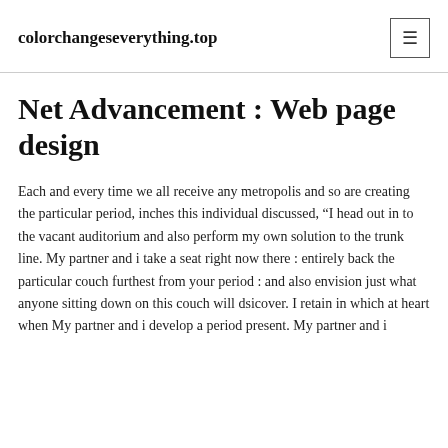colorchangeseverything.top
Net Advancement : Web page design
Each and every time we all receive any metropolis and so are creating the particular period, inches this individual discussed, “I head out in to the vacant auditorium and also perform my own solution to the trunk line. My partner and i take a seat right now there : entirely back the particular couch furthest from your period : and also envision just what anyone sitting down on this couch will dsicover. I retain in which at heart when My partner and i develop a period present. My partner and i